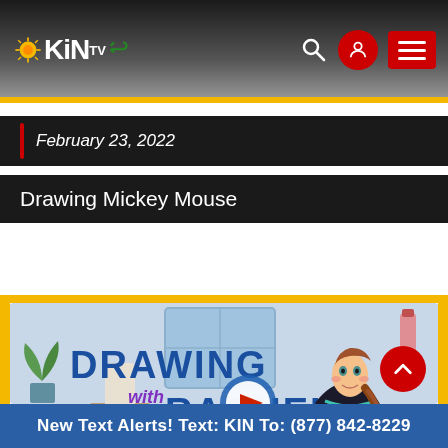[Figure (logo): AKIN TV logo with sun graphic]
February 23, 2022
Drawing Mickey Mouse
[Figure (screenshot): Drawing with Rachel video thumbnail featuring animated character Anna from Frozen, with play button overlay. Text reads DRAWING with RACHEL in bold blue letters.]
New Text Alerts! Text: KIN To: (877) 842-8229